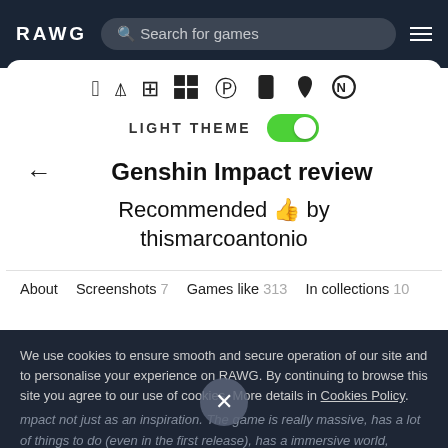RAWG   Search for games
[Figure (screenshot): Platform icons: Windows, PlayStation, Mobile, Android, Nintendo]
LIGHT THEME (toggle on)
Genshin Impact review
Recommended 👍 by thismarcoantonio
About   Screenshots 7   Games like 313   In collections 10
We use cookies to ensure smooth and secure operation of our site and to personalise your experience on RAWG. By continuing to browse this site you agree to our use of cookies. More details in Cookies Policy.
Impact not just as an inspiration. The game is really massive, has a lot of things to do (even in the first release), has a immersive world, exceptional levels and good main story line. The playable characters are really great and this makes you excited to get them all (currently there are 34...